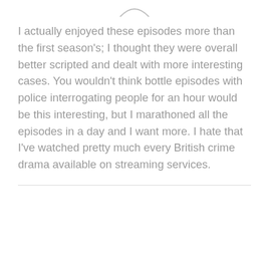[Figure (other): Partial decorative arc or bracket symbol at top of page]
I actually enjoyed these episodes more than the first season's; I thought they were overall better scripted and dealt with more interesting cases. You wouldn't think bottle episodes with police interrogating people for an hour would be this interesting, but I marathoned all the episodes in a day and I want more. I hate that I've watched pretty much every British crime drama available on streaming services.